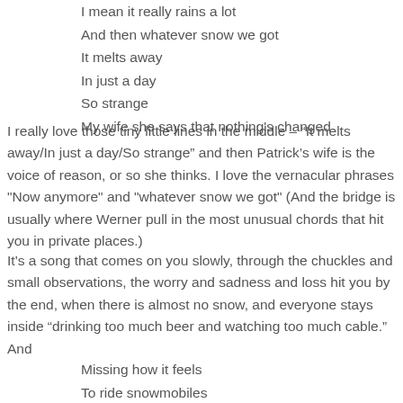I mean it really rains a lot
And then whatever snow we got
It melts away
In just a day
So strange
My wife she says that nothing's changed
I really love those tiny little lines in the middle – “It melts away/In just a day/So strange” and then Patrick’s wife is the voice of reason, or so she thinks. I love the vernacular phrases "Now anymore" and "whatever snow we got" (And the bridge is usually where Werner pull in the most unusual chords that hit you in private places.)
It’s a song that comes on you slowly, through the chuckles and small observations, the worry and sadness and loss hit you by the end, when there is almost no snow, and everyone stays inside “drinking too much beer and watching too much cable.” And
Missing how it feels
To ride snowmobiles
When the snow ends